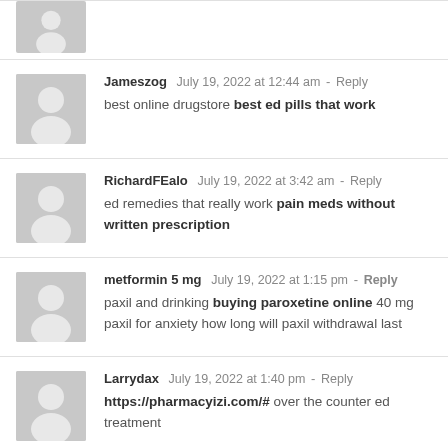Jameszog  July 19, 2022 at 12:44 am - Reply
best online drugstore best ed pills that work
RichardFEalo  July 19, 2022 at 3:42 am - Reply
ed remedies that really work pain meds without written prescription
metformin 5 mg  July 19, 2022 at 1:15 pm - Reply
paxil and drinking buying paroxetine online 40 mg paxil for anxiety how long will paxil withdrawal last
Larrydax  July 19, 2022 at 1:40 pm - Reply
https://pharmacyizi.com/# over the counter ed treatment